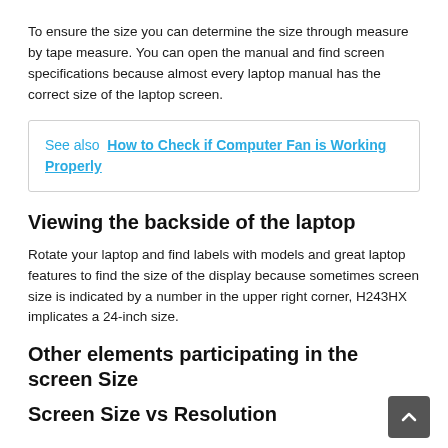To ensure the size you can determine the size through measure by tape measure. You can open the manual and find screen specifications because almost every laptop manual has the correct size of the laptop screen.
See also  How to Check if Computer Fan is Working Properly
Viewing the backside of the laptop
Rotate your laptop and find labels with models and great laptop features to find the size of the display because sometimes screen size is indicated by a number in the upper right corner, H243HX implicates a 24-inch size.
Other elements participating in the screen Size
Screen Size vs Resolution